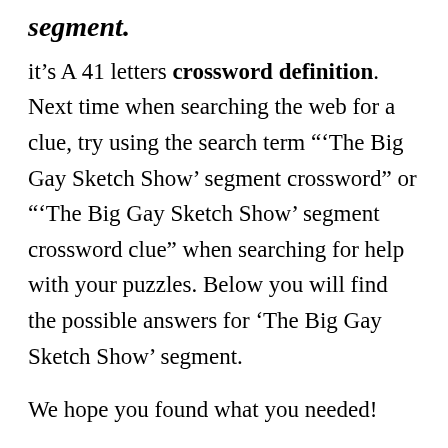segment.
it's A 41 letters crossword definition. Next time when searching the web for a clue, try using the search term "‘The Big Gay Sketch Show’ segment crossword” or "‘The Big Gay Sketch Show’ segment crossword clue” when searching for help with your puzzles. Below you will find the possible answers for ‘The Big Gay Sketch Show’ segment.
We hope you found what you needed!